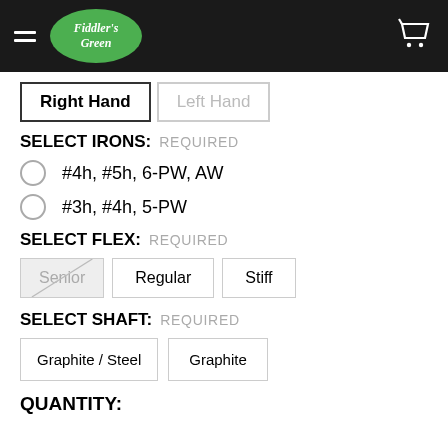Fiddler's Green
Right Hand | Left Hand
SELECT IRONS: REQUIRED
#4h, #5h, 6-PW, AW
#3h, #4h, 5-PW
SELECT FLEX: REQUIRED
Senior | Regular | Stiff
SELECT SHAFT: REQUIRED
Graphite / Steel | Graphite
QUANTITY: